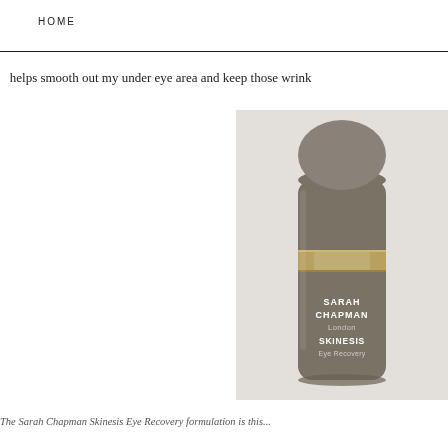HOME
helps smooth out my under eye area and keep those wrink
[Figure (photo): A bottle of Sarah Chapman London Skinesis Eye Recovery serum with a taupe/grey matte finish body, gold metallic band near the top, and a rounded cap. The label reads: SARAH CHAPMAN London SKINESIS Eye Recovery.]
The Sarah Chapman Skinesis Eye Recovery formulation is this...